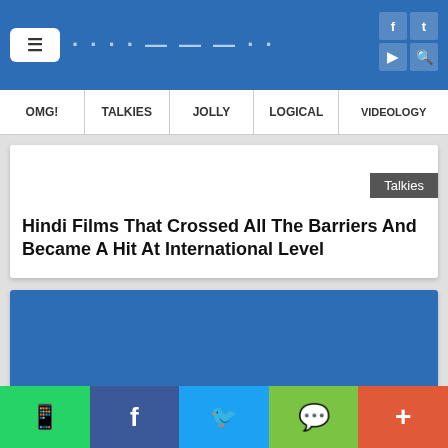OMG! | TALKIES | JOLLY | LOGICAL | VIDEOLOGY
Hindi Films That Crossed All The Barriers And Became A Hit At International Level
[Figure (screenshot): Second article card with blue image placeholder and Talkies badge]
WhatsApp | Facebook | Twitter | WeChat | More